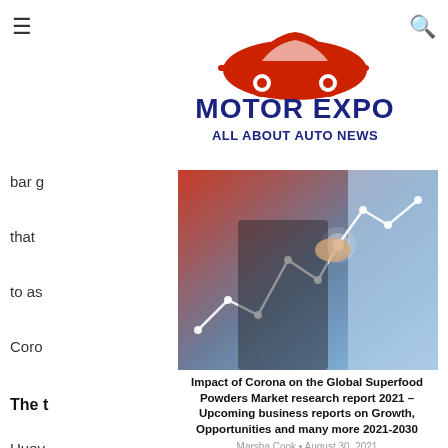Motor Expo – All About Auto News
[Figure (logo): Motor Expo All About Auto News logo with red car silhouette on top]
[Figure (photo): Businessman in suit pointing at a glowing digital stock chart with line graph overlay]
Impact of Corona on the Global Superfood Powders Market research report 2021 – Upcoming business reports on Growth, Opportunities and many more 2021-2030
Marsha Cook • August 30, 2021
bar g
that
to as
Coro
The t
Huav
Co. L
Erics
Com
Hold
Cont